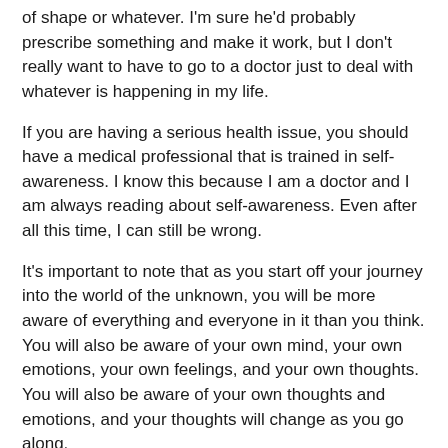of shape or whatever. I'm sure he'd probably prescribe something and make it work, but I don't really want to have to go to a doctor just to deal with whatever is happening in my life.
If you are having a serious health issue, you should have a medical professional that is trained in self-awareness. I know this because I am a doctor and I am always reading about self-awareness. Even after all this time, I can still be wrong.
It's important to note that as you start off your journey into the world of the unknown, you will be more aware of everything and everyone in it than you think. You will also be aware of your own mind, your own emotions, your own feelings, and your own thoughts. You will also be aware of your own thoughts and emotions, and your thoughts will change as you go along.